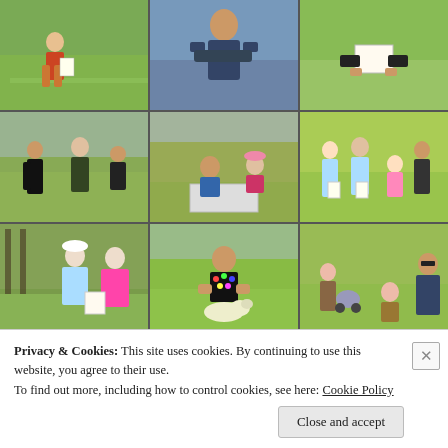[Figure (photo): 3x3 grid of outdoor photographs showing people (adults and children) on grass, participating in what appears to be an outdoor community event or scavenger hunt. Photos show people holding papers, groups standing on lawns, a man with a dog, and families in a park setting.]
Privacy & Cookies: This site uses cookies. By continuing to use this website, you agree to their use.
To find out more, including how to control cookies, see here: Cookie Policy